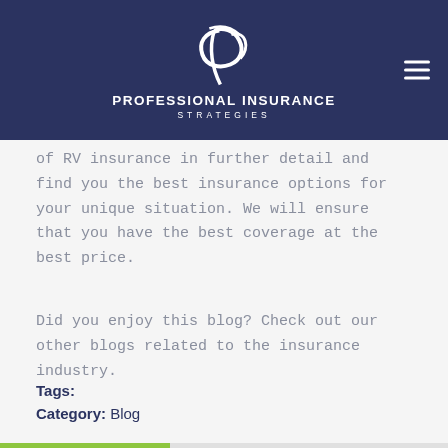Professional Insurance Strategies
of RV insurance in further detail and find you the best insurance options for your unique situation. We will ensure that you have the best coverage at the best price.
Did you enjoy this blog? Check out our other blogs related to the insurance industry.
Tags:
Category: Blog